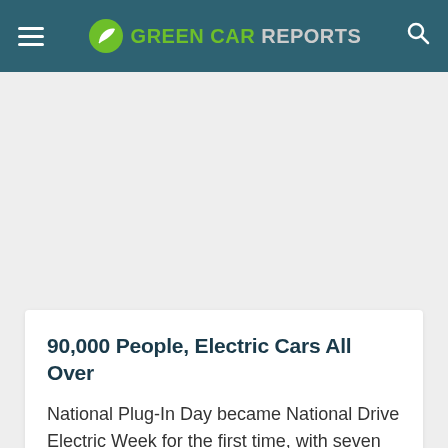GREEN CAR REPORTS
90,000 People, Electric Cars All Over
National Plug-In Day became National Drive Electric Week for the first time, with seven days worth of electric-car events.
Stephen Edelstein   September 25, 2014